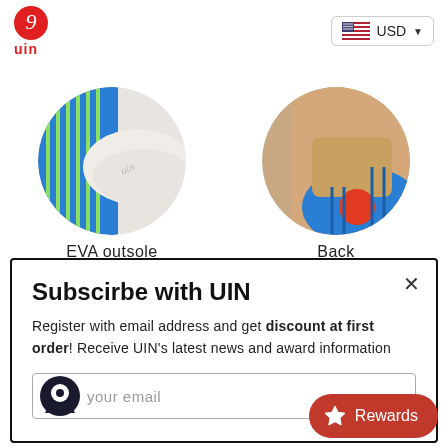[Figure (logo): UIN brand logo: red snail/fish icon above 'uin' text in red]
[Figure (other): Currency selector showing US flag and USD with dropdown arrow]
[Figure (photo): Circular cropped photo of UIN shoe EVA outsole showing blue and yellow pattern]
EVA outsole
[Figure (photo): Circular cropped photo showing the back of a UIN shoe with blue and orange details]
Back
Subscirbe with UIN
Register with email address and get discount at first order! Receive UIN's latest news and award information
your email